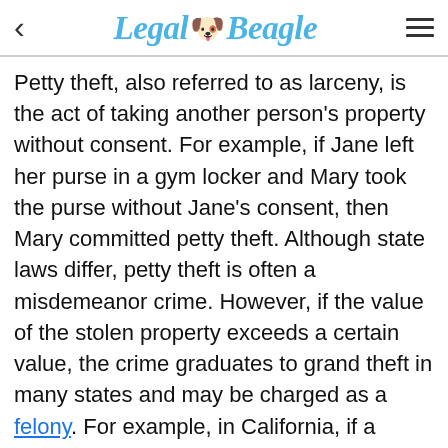Legal Beagle
Petty theft, also referred to as larceny, is the act of taking another person's property without consent. For example, if Jane left her purse in a gym locker and Mary took the purse without Jane's consent, then Mary committed petty theft. Although state laws differ, petty theft is often a misdemeanor crime. However, if the value of the stolen property exceeds a certain value, the crime graduates to grand theft in many states and may be charged as a felony. For example, in California, if a person steals property valued at less than $950, he is guilty of petty theft. However, if the value is greater than $950, he is guilty of grand theft and the prosecutor has the option of charging the crime as